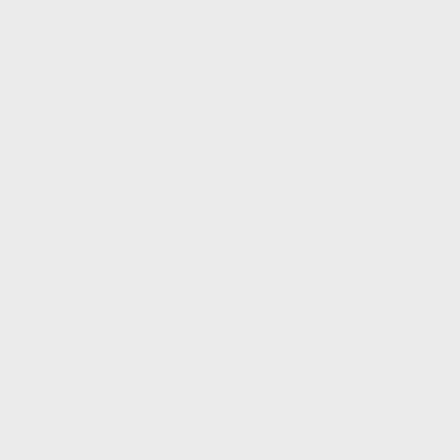[Figure (photo): Product image showing ink bottles (black and red) for Canon printer refill, with 'Replac' text partially visible to the right]
Cheap Ink Refills for C
Using our cheap ciss ink for Canon refill print costs on the Pixma TS635
Low cost ink refills for Canon Printe
Our prices are extremely competiti range of cheap Ciss ink refills for th cheap ciss ink refills for the Canon
Quality Ciss ink refills cheap for Ca
We use the high quality ciss cheap TS6350a ink cartridges.